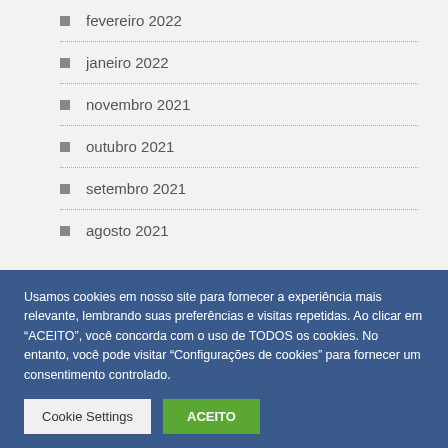fevereiro 2022
janeiro 2022
novembro 2021
outubro 2021
setembro 2021
agosto 2021
Usamos cookies em nosso site para fornecer a experiência mais relevante, lembrando suas preferências e visitas repetidas. Ao clicar em "ACEITO", você concorda com o uso de TODOS os cookies. No entanto, você pode visitar "Configurações de cookies" para fornecer um consentimento controlado.
Cookie Settings | ACEITO